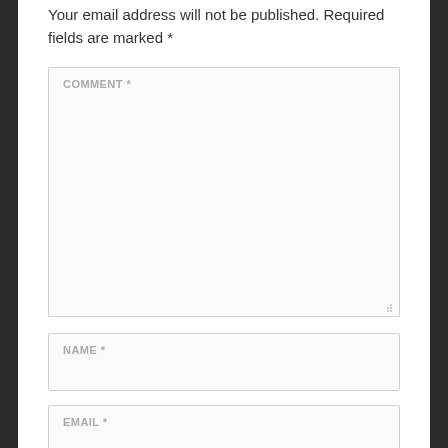Your email address will not be published. Required fields are marked *
[Figure (other): Comment form with labeled text area (COMMENT *) and two input fields (NAME * and EMAIL *)]